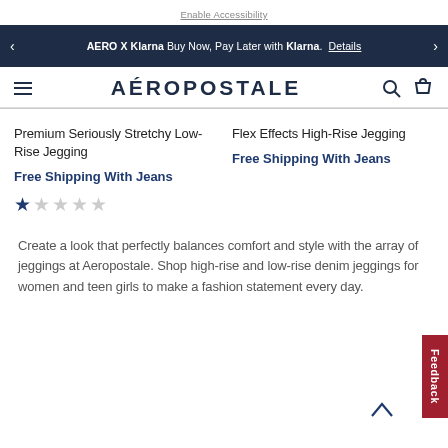Enable Accessibility
AERO X Klarna Buy Now, Pay Later with Klarna. Details
AÉROPOSTALE
Premium Seriously Stretchy Low-Rise Jegging
Free Shipping With Jeans
★☆☆☆☆
Flex Effects High-Rise Jegging
Free Shipping With Jeans
Create a look that perfectly balances comfort and style with the array of jeggings at Aeropostale. Shop high-rise and low-rise denim jeggings for women and teen girls to make a fashion statement every day.